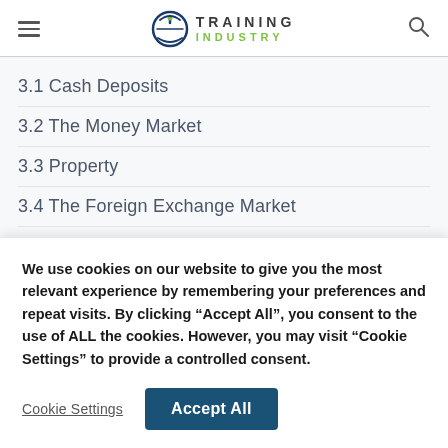Training Industry — navigation header with hamburger menu and search icon
3.1 Cash Deposits
3.2 The Money Market
3.3 Property
3.4 The Foreign Exchange Market
ELEMENT 4 Equities
4.1 Equities
ELEMENT 5 Bonds
We use cookies on our website to give you the most relevant experience by remembering your preferences and repeat visits. By clicking “Accept All”, you consent to the use of ALL the cookies. However, you may visit “Cookie Settings” to provide a controlled consent.
Cookie Settings | Accept All